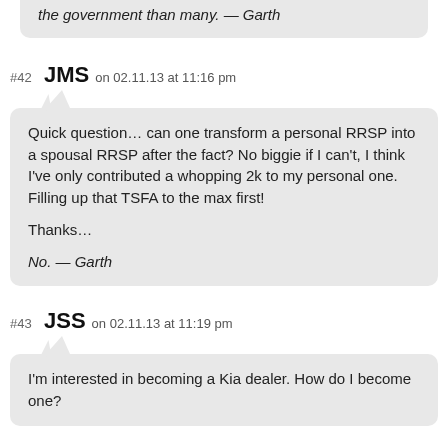the government than many. — Garth
#42 JMS on 02.11.13 at 11:16 pm
Quick question… can one transform a personal RRSP into a spousal RRSP after the fact? No biggie if I can't, I think I've only contributed a whopping 2k to my personal one. Filling up that TSFA to the max first!

Thanks…

No. — Garth
#43 JSS on 02.11.13 at 11:19 pm
I'm interested in becoming a Kia dealer. How do I become one?
#44 AK on 02.11.13 at 11:20 pm
#18 John Dominsas on 02.11.13 at 10:05 pm